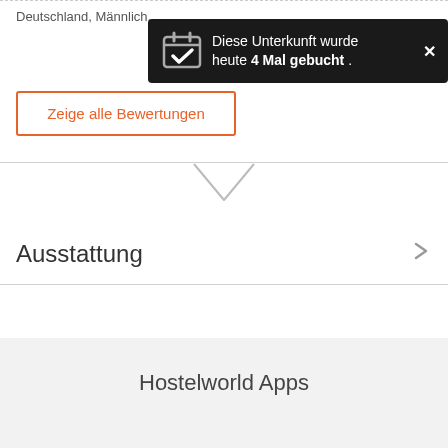Deutschland, Männlich, ...
[Figure (screenshot): Toast notification popup with dark background showing: 'Diese Unterkunft wurde heute 4 Mal gebucht .' with a calendar checkmark icon and an X close button]
Zeige alle Bewertungen
Ausstattung
Hostelworld Apps